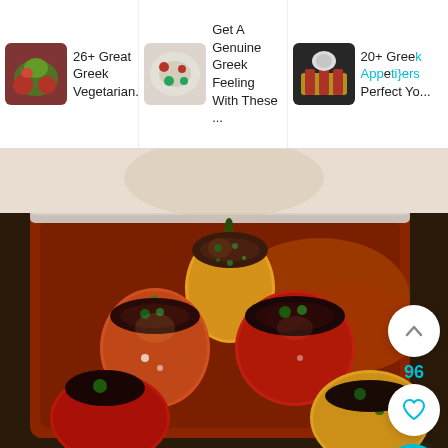[Figure (screenshot): Website screenshot showing a top navigation bar with three recipe cards (26+ Great Greek Vegetarian..., Get A Genuine Greek Feeling With These ..., 20+ Greek Appetizers Perfect Yo...) and a main large photo of roasted stuffed bell peppers in a baking dish, with social interaction buttons (up arrow, 96, heart, search) on the right side.]
26+ Great Greek Vegetarian...
Get A Genuine Greek Feeling With These ...
20+ Greek Appetizers Perfect Yo...
96